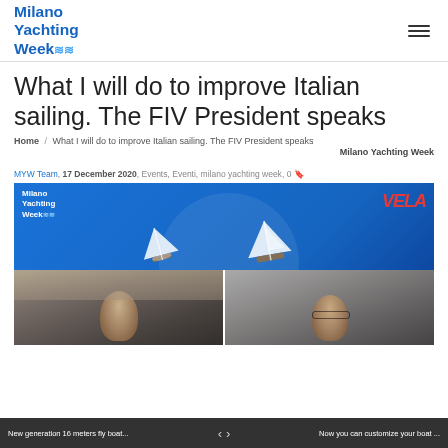Milano Yachting Week — navigation header
What I will do to improve Italian sailing. The FIV President speaks
Home / What I will do to improve Italian sailing. The FIV President speaks
Milano Yachting Week
MYW Team, 17 December 2020, Events, Eventi, milano yachting week, 0
[Figure (screenshot): Video conference screenshot showing Milano Yachting Week branding with VELA logo, two participants visible in video feed panels, blue background with sailboat illustrations]